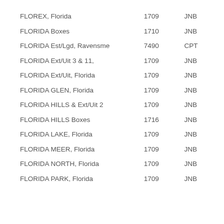| FLOREX, Florida | 1709 | JNB |
| FLORIDA Boxes | 1710 | JNB |
| FLORIDA Est/Lgd, Ravensme | 7490 | CPT |
| FLORIDA Ext/Uit 3 & 11, | 1709 | JNB |
| FLORIDA Ext/Uit, Florida | 1709 | JNB |
| FLORIDA GLEN, Florida | 1709 | JNB |
| FLORIDA HILLS & Ext/Uit 2 | 1709 | JNB |
| FLORIDA HILLS Boxes | 1716 | JNB |
| FLORIDA LAKE, Florida | 1709 | JNB |
| FLORIDA MEER, Florida | 1709 | JNB |
| FLORIDA NORTH, Florida | 1709 | JNB |
| FLORIDA PARK, Florida | 1709 | JNB |